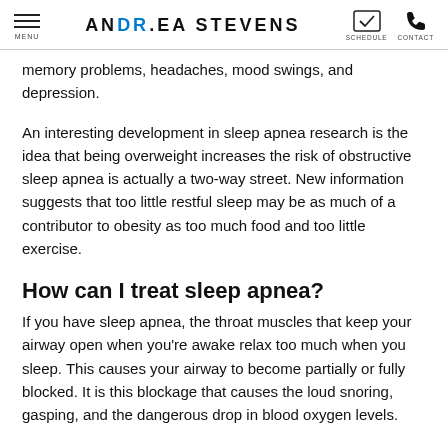ANDREA STEVENS — MENU / SCHEDULE / CONTACT
memory problems, headaches, mood swings, and depression.
An interesting development in sleep apnea research is the idea that being overweight increases the risk of obstructive sleep apnea is actually a two-way street. New information suggests that too little restful sleep may be as much of a contributor to obesity as too much food and too little exercise.
How can I treat sleep apnea?
If you have sleep apnea, the throat muscles that keep your airway open when you're awake relax too much when you sleep. This causes your airway to become partially or fully blocked. It is this blockage that causes the loud snoring, gasping, and the dangerous drop in blood oxygen levels.